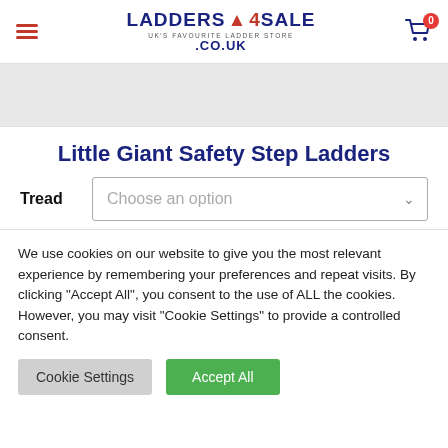Ladders 4 Sale .co.uk — UK's Favourite Ladder Store
[Figure (screenshot): Gray banner image placeholder]
Little Giant Safety Step Ladders
Tread — Choose an option dropdown
We use cookies on our website to give you the most relevant experience by remembering your preferences and repeat visits. By clicking "Accept All", you consent to the use of ALL the cookies. However, you may visit "Cookie Settings" to provide a controlled consent.